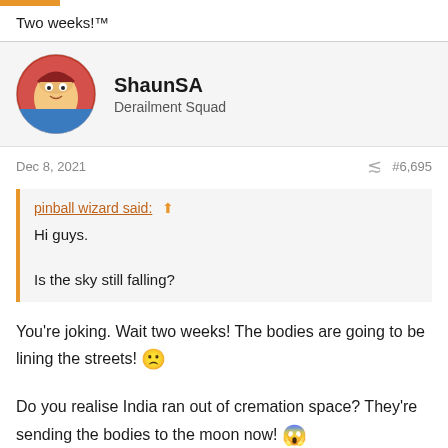Two weeks!™
ShaunSA
Derailment Squad
Dec 8, 2021  #6,695
pinball wizard said:
Hi guys.
Is the sky still falling?
You're joking. Wait two weeks! The bodies are going to be lining the streets! 🙁
Do you realise India ran out of cremation space? They're sending the bodies to the moon now! 😱